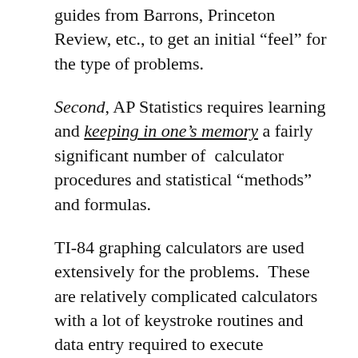guides from Barrons, Princeton Review, etc., to get an initial “feel” for the type of problems.
Second, AP Statistics requires learning and keeping in one’s memory a fairly significant number of calculator procedures and statistical “methods” and formulas.
TI-84 graphing calculators are used extensively for the problems. These are relatively complicated calculators with a lot of keystroke routines and data entry required to execute statistical methods. Ideally this will all be picked up during the course of working copious homework problems, but if this work is not done religiously, a student may not know how